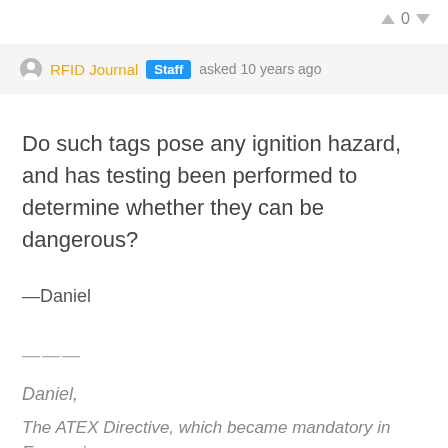0
RFID Journal Staff asked 10 years ago
Do such tags pose any ignition hazard, and has testing been performed to determine whether they can be dangerous?
—Daniel
———
Daniel,
The ATEX Directive, which became mandatory in Europe in